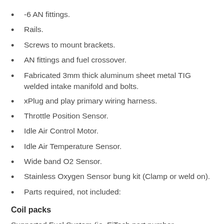-6 AN fittings.
Rails.
Screws to mount brackets.
AN fittings and fuel crossover.
Fabricated 3mm thick aluminum sheet metal TIG welded intake manifold and bolts.
xPlug and play primary wiring harness.
Throttle Position Sensor.
Idle Air Control Motor.
Idle Air Temperature Sensor.
Wide band O2 Sensor.
Stainless Oxygen Sensor bung kit (Clamp or weld on).
Parts required, not included:
Coil packs
Supported Fuel System (ie. FiTech part number